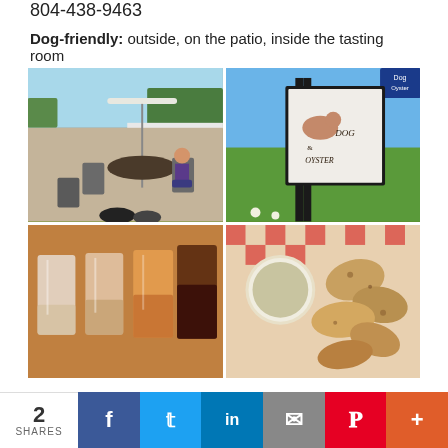804-438-9463
Dog-friendly: outside, on the patio, inside the tasting room
[Figure (photo): Four photos of The Dog and Oyster Vineyard: (1) outdoor patio with people and dogs sitting at tables under umbrellas, (2) The Dog and Oyster vineyard sign on a post in a green field, (3) flight of wines in plastic cups on a table, (4) fried oysters in a basket with dipping sauce]
Photos of The Dog and Oyster Vineyard. Photos by Peggy Mihelich, All Rights Reserved
2 SHARES | Facebook | Twitter | LinkedIn | Email | Pinterest | More